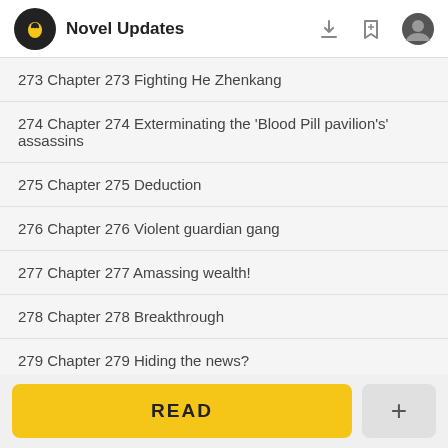Novel Updates
273 Chapter 273 Fighting He Zhenkang
274 Chapter 274 Exterminating the 'Blood Pill pavilion's' assassins
275 Chapter 275 Deduction
276 Chapter 276 Violent guardian gang
277 Chapter 277 Amassing wealth!
278 Chapter 278 Breakthrough
279 Chapter 279 Hiding the news?
READ